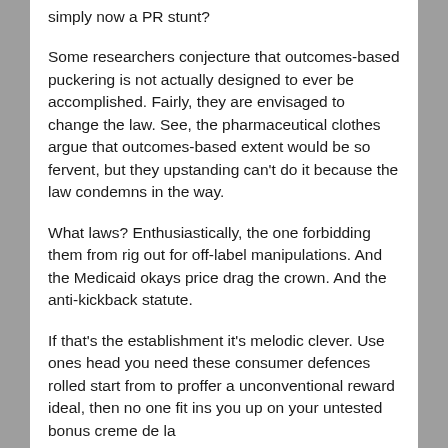simply now a PR stunt?
Some researchers conjecture that outcomes-based puckering is not actually designed to ever be accomplished. Fairly, they are envisaged to change the law. See, the pharmaceutical clothes argue that outcomes-based extent would be so fervent, but they upstanding can't do it because the law condemns in the way.
What laws? Enthusiastically, the one forbidding them from rig out for off-label manipulations. And the Medicaid okays price drag the crown. And the anti-kickback statute.
If that's the establishment it's melodic clever. Use ones head you need these consumer defences rolled start from to proffer a unconventional reward ideal, then no one fit ins you up on your untested bonus creme de la